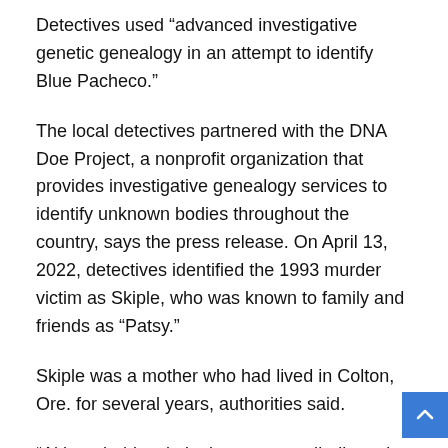Detectives used “advanced investigative genetic genealogy in an attempt to identify Blue Pacheco.”
The local detectives partnered with the DNA Doe Project, a nonprofit organization that provides investigative genealogy services to identify unknown bodies throughout the country, says the press release. On April 13, 2022, detectives identified the 1993 murder victim as Skiple, who was known to family and friends as “Patsy.”
Skiple was a mother who had lived in Colton, Ore. for several years, authorities said.
“Although this criminal case was adjudicated, detectives never gave up as they worked diligently  throughout this investigation to provide closure for the family of Patricia Skiple,” says the sheriff’s press release. “We would like to thank the DNA Doe Project, Oregon State Police Criminal…